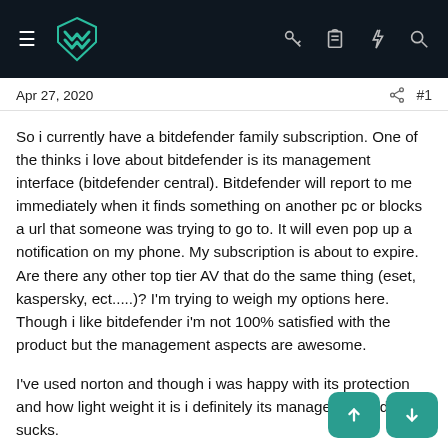MalwareTips forum navigation bar with logo and icons
Apr 27, 2020
So i currently have a bitdefender family subscription. One of the thinks i love about bitdefender is its management interface (bitdefender central). Bitdefender will report to me immediately when it finds something on another pc or blocks a url that someone was trying to go to. It will even pop up a notification on my phone. My subscription is about to expire. Are there any other top tier AV that do the same thing (eset, kaspersky, ect.....)? I'm trying to weigh my options here. Though i like bitdefender i'm not 100% satisfied with the product but the management aspects are awesome.
I've used norton and though i was happy with its protection and how light weight it is i definitely its management side sucks.
if anyone is curious what parts of bitdefender i'm not happy with (though i don't want to get in a huge discussion about it, i think cpu usage its generally light but on RAM usage it is not. Also i'm not